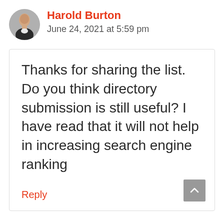[Figure (photo): Circular avatar photo of a bald man in a suit, grayscale]
Harold Burton
June 24, 2021 at 5:59 pm
Thanks for sharing the list. Do you think directory submission is still useful? I have read that it will not help in increasing search engine ranking
Reply